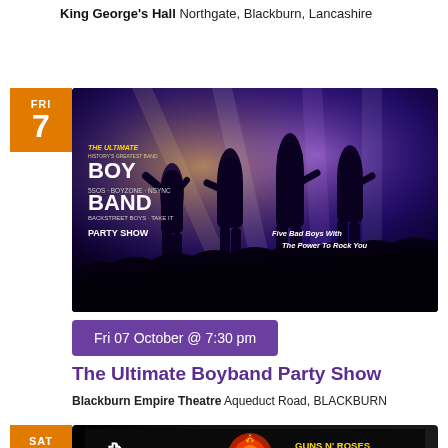King George's Hall Northgate, Blackburn, Lancashire
[Figure (photo): Concert promotional image for The Ultimate Boyband Party Show featuring silhouetted male performers on stage with purple and golden stage lighting and a crowd below. Text overlays read: THE ULTIMATE BOY BAND PARTY SHOW, FIVE BAD BOYS WITH THE POWER TO ROCK YOU]
Fri 07 October @ 7:30 pm
The Ultimate Boyband Party Show
Blackburn Empire Theatre Aqueduct Road, BLACKBURN
[Figure (photo): Promotional image for Guns N' Roses Experience tribute show, showing Guns N' Roses logos and text on a dark background]